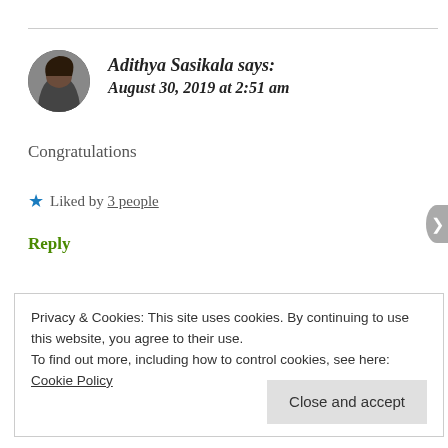Adithya Sasikala says: August 30, 2019 at 2:51 am
Congratulations
★ Liked by 3 people
Reply
Privacy & Cookies: This site uses cookies. By continuing to use this website, you agree to their use.
To find out more, including how to control cookies, see here: Cookie Policy
Close and accept